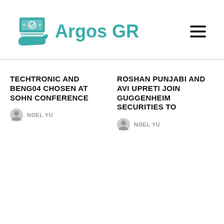[Figure (logo): Argos GR logo with a hand holding money/cash icon in teal color and the text 'Argos GR' in teal bold font]
TECHTRONIC AND BENG04 CHOSEN AT SOHN CONFERENCE
NOEL YU
ROSHAN PUNJABI AND AVI UPRETI JOIN GUGGENHEIM SECURITIES TO
NOEL YU